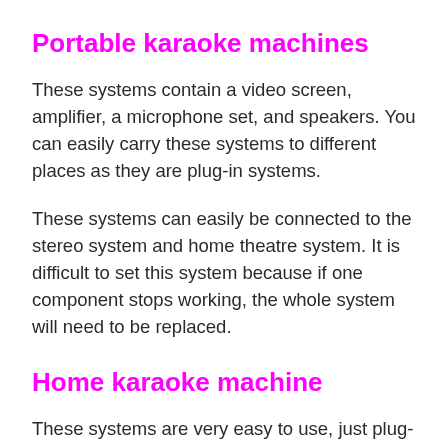Portable karaoke machines
These systems contain a video screen, amplifier, a microphone set, and speakers. You can easily carry these systems to different places as they are plug-in systems.
These systems can easily be connected to the stereo system and home theatre system. It is difficult to set this system because if one component stops working, the whole system will need to be replaced.
Home karaoke machine
These systems are very easy to use, just plug-in and enjoy the music. They have one